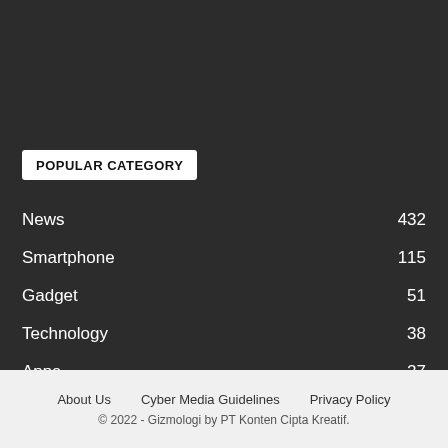POPULAR CATEGORY
News 432
Smartphone 115
Gadget 51
Technology 38
Apps 27
Laptop 21
Review 19
About Us   Cyber Media Guidelines   Privacy Policy
© 2022 - Gizmologi by PT Konten Cipta Kreatif.